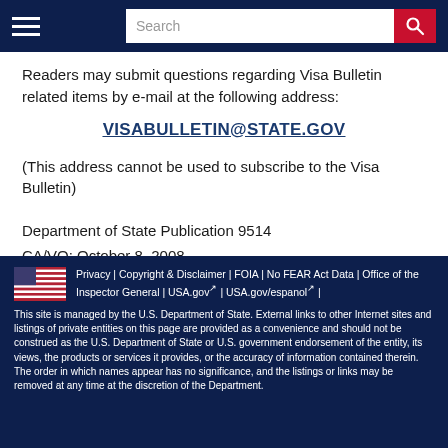Search bar and navigation header
Readers may submit questions regarding Visa Bulletin related items by e-mail at the following address:
VISABULLETIN@STATE.GOV
(This address cannot be used to subscribe to the Visa Bulletin)
Department of State Publication 9514
CA/VO: October 8, 2008
Privacy | Copyright & Disclaimer | FOIA | No FEAR Act Data | Office of the Inspector General | USA.gov | USA.gov/espanol | This site is managed by the U.S. Department of State. External links to other Internet sites and listings of private entities on this page are provided as a convenience and should not be construed as the U.S. Department of State or U.S. government endorsement of the entity, its views, the products or services it provides, or the accuracy of information contained therein. The order in which names appear has no significance, and the listings or links may be removed at any time at the discretion of the Department.